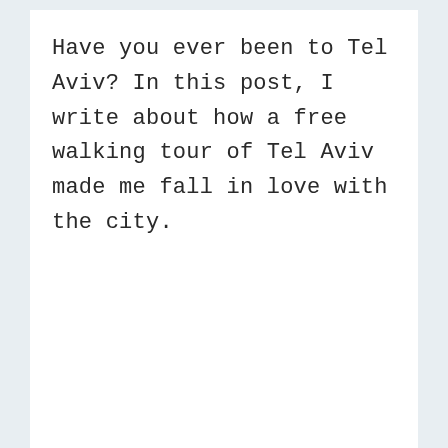Have you ever been to Tel Aviv? In this post, I write about how a free walking tour of Tel Aviv made me fall in love with the city.
4 thoughts on “How To Change WordPress Theme to Astra (using Elementor Pro Builder)”